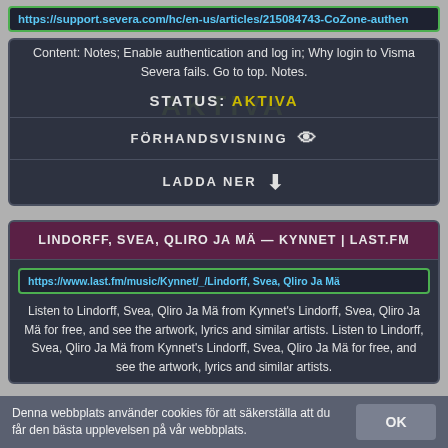https://support.severa.com/hc/en-us/articles/215084743-CoZone-authen
Content: Notes; Enable authentication and log in; Why login to Visma Severa fails. Go to top. Notes.
STATUS: AKTIVA
FÖRHANDSVISNING
LADDA NER
LINDORFF, SVEA, QLIRO JA MÄ — KYNNET | LAST.FM
https://www.last.fm/music/Kynnet/_/Lindorff, Svea, Qliro Ja Mä
Listen to Lindorff, Svea, Qliro Ja Mä from Kynnet's Lindorff, Svea, Qliro Ja Mä for free, and see the artwork, lyrics and similar artists. Listen to Lindorff, Svea, Qliro Ja Mä from Kynnet's Lindorff, Svea, Qliro Ja Mä for free, and see the artwork, lyrics and similar artists.
Denna webbplats använder cookies för att säkerställa att du får den bästa upplevelsen på vår webbplats.